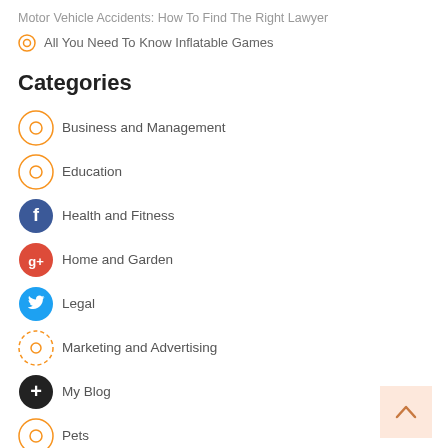Motor Vehicle Accidents: How To Find The Right Lawyer
All You Need To Know Inflatable Games
Categories
Business and Management
Education
Health and Fitness
Home and Garden
Legal
Marketing and Advertising
My Blog
Pets